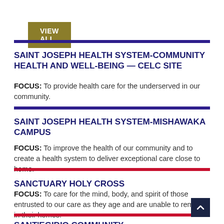VIEW ALL
SAINT JOSEPH HEALTH SYSTEM-COMMUNITY HEALTH AND WELL-BEING — CELC SITE
FOCUS: To provide health care for the underserved in our community.
SAINT JOSEPH HEALTH SYSTEM-MISHAWAKA CAMPUS
FOCUS: To improve the health of our community and to create a health system to deliver exceptional care close to home.
SANCTUARY HOLY CROSS
FOCUS: To care for the mind, body, and spirit of those entrusted to our care as they age and are unable to remain in their homes.
SANT'EGIDIO COMMUNITY